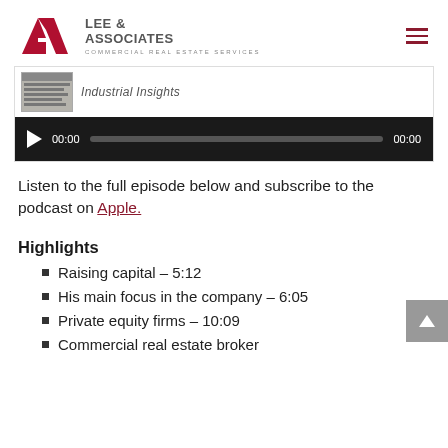Lee & Associates — Commercial Real Estate Services
[Figure (screenshot): Audio player widget showing 'Industrial Insights' podcast episode with thumbnail image, play button, and progress bar showing 00:00 / 00:00]
Listen to the full episode below and subscribe to the podcast on Apple.
Highlights
Raising capital – 5:12
His main focus in the company – 6:05
Private equity firms – 10:09
Commercial real estate broker